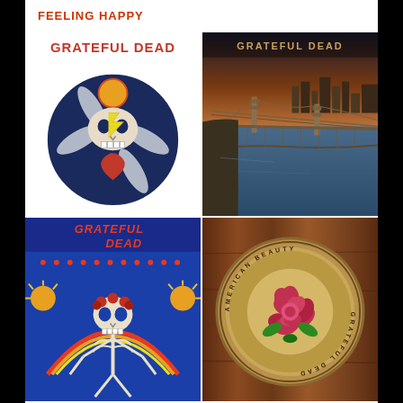FEELING HAPPY
[Figure (illustration): Grateful Dead album cover — skull with crossbones, roses, and colorful psychedelic design on white background]
[Figure (illustration): Grateful Dead album cover — aerial view of San Francisco Bay Bridge at sunset/dusk with city skyline]
[Figure (illustration): Grateful Dead Skull & Roses album cover — dancing skeleton with roses in hair on blue psychedelic background with band name]
[Figure (illustration): Grateful Dead American Beauty album cover — circular coin/medallion with rose on wood grain background]